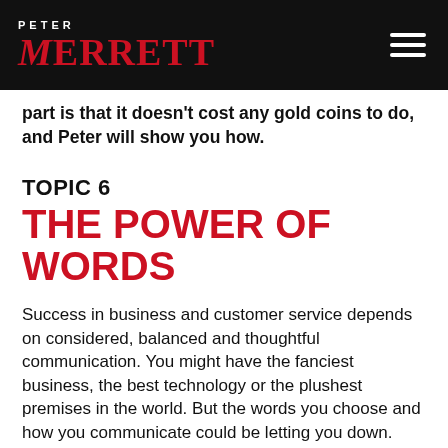PETER MERRETT
part is that it doesn't cost any gold coins to do, and Peter will show you how.
TOPIC 6
THE POWER OF WORDS
Success in business and customer service depends on considered, balanced and thoughtful communication. You might have the fanciest business, the best technology or the plushest premises in the world. But the words you choose and how you communicate could be letting you down.